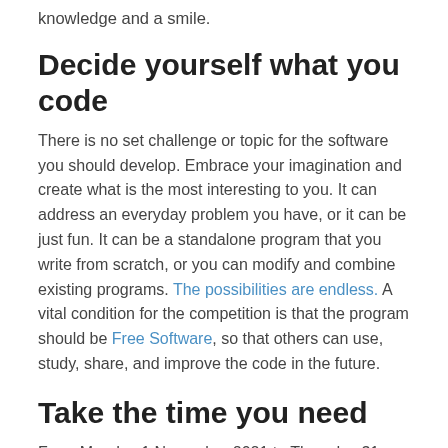knowledge and a smile.
Decide yourself what you code
There is no set challenge or topic for the software you should develop. Embrace your imagination and create what is the most interesting to you. It can address an everyday problem you have, or it can be just fun. It can be a standalone program that you write from scratch, or you can modify and combine existing programs. The possibilities are endless. A vital condition for the competition is that the program should be Free Software, so that others can use, study, share, and improve the code in the future.
Take the time you need
From Monday 1 November 2021 to Thursday 31 March 2022, you will have five months to come up with an idea for a Free Software program and write it. During the coding period you will be invited to an online group meeting, where you and other participants can briefly follow each other's work, exchange ideas, and share problem-solving tips. You can